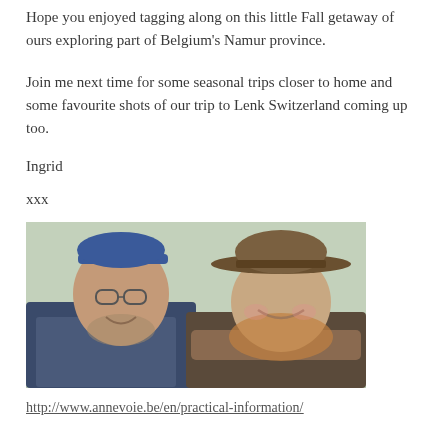Hope you enjoyed tagging along on this little Fall getaway of ours exploring part of Belgium's Namur province.
Join me next time for some seasonal trips closer to home and some favourite shots of our trip to Lenk Switzerland coming up too.
Ingrid
xxx
[Figure (photo): A couple smiling for a photo outdoors; the man on the left wears a blue cap and glasses, the woman on the right wears a brown wide-brimmed hat and a scarf.]
http://www.annevoie.be/en/practical-information/